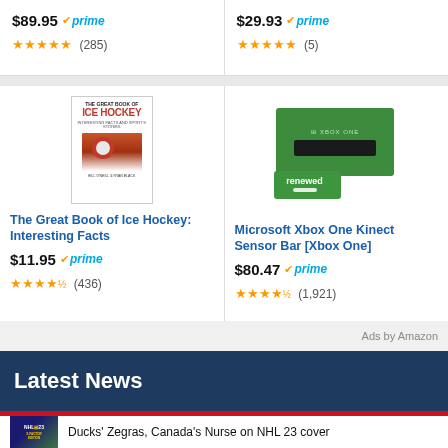$89.95 prime ★★★★★ (285)
$29.93 prime ★★★★★ (5)
[Figure (photo): Book cover: The Great Book of Ice Hockey]
The Great Book of Ice Hockey: Interesting Facts
$11.95 prime ★★★★½ (436)
[Figure (photo): Microsoft Xbox One Kinect Sensor Bar product box with renewed badge]
Microsoft Xbox One Kinect Sensor Bar [Xbox One]
$80.47 prime ★★★★½ (1,921)
Ads by Amazon
Latest News
Ducks' Zegras, Canada's Nurse on NHL 23 cover